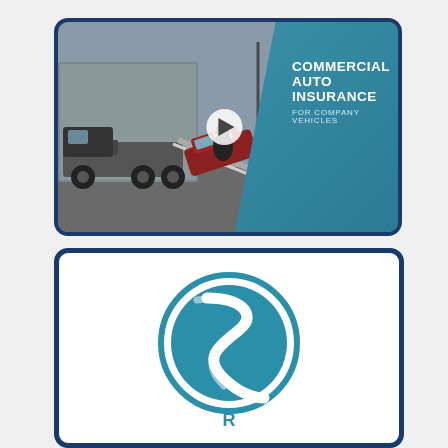[Figure (photo): Video thumbnail showing a tow truck loading a red car onto a flatbed, with a teal diagonal overlay on the right side displaying the text 'COMMERCIAL AUTO INSURANCE FOR COMPANY VEHICLES' and a play button in the center.]
[Figure (logo): Circular teal logo featuring a stylized road/path (S-curve) in white inside a teal circle ring, partial view of company name text below.]